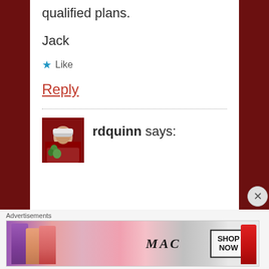qualified plans.
Jack
★ Like
Reply
rdquinn says:
[Figure (photo): Avatar photo of rdquinn, a person wearing a white cap, outdoors with greenery]
[Figure (photo): MAC cosmetics advertisement showing lipsticks and SHOP NOW button]
Advertisements